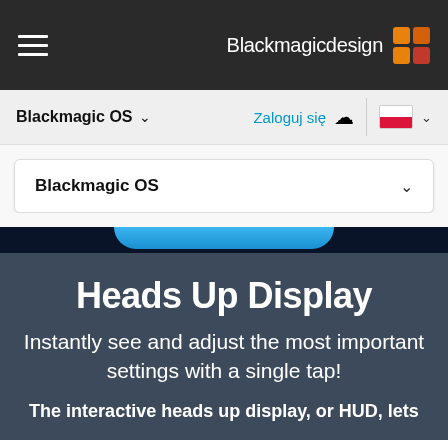Blackmagicdesign
Blackmagic OS
Zaloguj się
Blackmagic OS
Heads Up Display
Instantly see and adjust the most important settings with a single tap!
The interactive heads up display, or HUD, lets